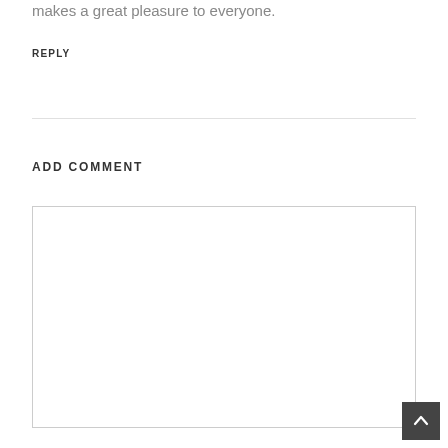makes a great pleasure to everyone.
REPLY
ADD COMMENT
[Figure (other): Empty comment text area input box with light border]
[Figure (other): Scroll to top button - dark square with upward chevron arrow]